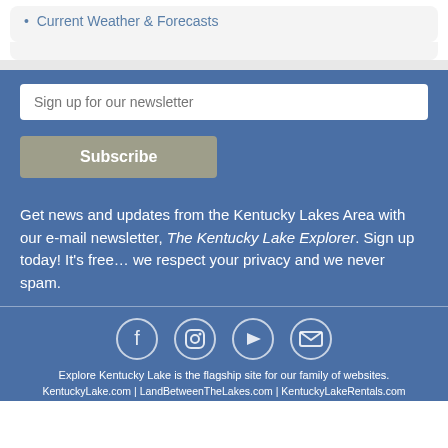Current Weather & Forecasts
Sign up for our newsletter
Subscribe
Get news and updates from the Kentucky Lakes Area with our e-mail newsletter, The Kentucky Lake Explorer. Sign up today! It's free… we respect your privacy and we never spam.
[Figure (infographic): Social media icons: Facebook, Instagram, YouTube, Email]
Explore Kentucky Lake is the flagship site for our family of websites.
KentuckyLake.com | LandBetweenTheLakes.com | KentuckyLakeRentals.com